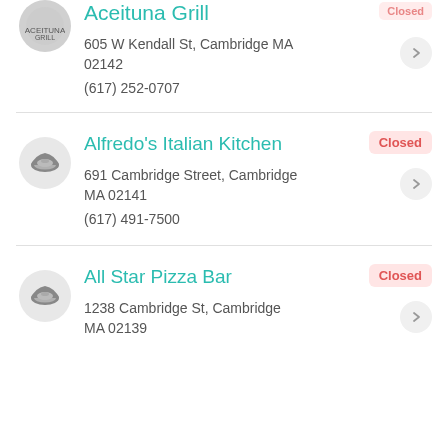Aceituna Grill
605 W Kendall St, Cambridge MA 02142
(617) 252-0707
Closed
Alfredo's Italian Kitchen
691 Cambridge Street, Cambridge MA 02141
(617) 491-7500
Closed
All Star Pizza Bar
1238 Cambridge St, Cambridge MA 02139
Closed